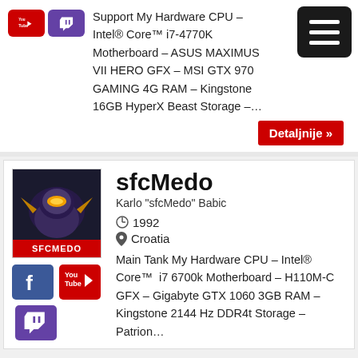[Figure (logo): YouTube logo icon (red) and Twitch logo icon (purple)]
Support My Hardware CPU – Intel® Core™ i7-4770K Motherboard – ASUS MAXIMUS VII HERO GFX – MSI GTX 970 GAMING 4G RAM – Kingstone 16GB HyperX Beast Storage –…
[Figure (other): Dark menu/hamburger button with three white lines]
Detaljnije »
[Figure (logo): sfcMedo avatar - dark background with a mascot/character and SFCMEDO text]
sfcMedo
Karlo "sfcMedo" Babic
⊙ 1992
♦ Croatia
[Figure (logo): Facebook logo (blue), YouTube logo (red), Twitch logo (purple)]
Main Tank My Hardware CPU – Intel® Core™  i7 6700k Motherboard – H110M-C GFX – Gigabyte GTX 1060 3GB RAM – Kingstone 2144 Hz DDR4t Storage – Patrion…